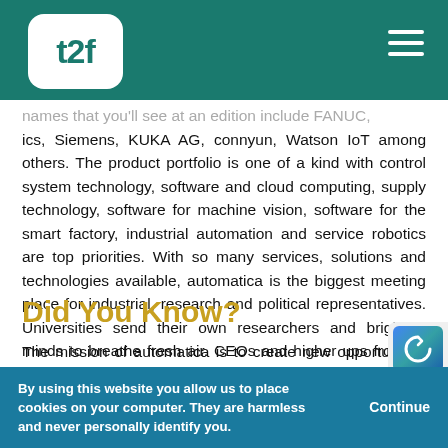t2f [logo] [hamburger menu]
names that you'll see at an edition include FANUC, ics, Siemens, KUKA AG, connyun, Watson IoT among others. The product portfolio is one of a kind with control system technology, software and cloud computing, supply technology, software for machine vision, software for the smart factory, industrial automation and service robotics are top priorities. With so many services, solutions and technologies available, automatica is the biggest meeting place for industrial, research and political representatives. Universities send their own researchers and brightest minds to breathe fresh air. CEOs and higher ups from all major industries – automotive, chemical, IT, metal working, rubber, food and beverage, and aviation – are all at the exhibition.
Did You Know?
The mission of automatica is to create new opportunities for up-and-comers and discover where automation can go. It's why the Start-up Arena holds such a central space during the e…
By using this website you allow us to place cookies on your computer. They are harmless and never personally identify you. Continue